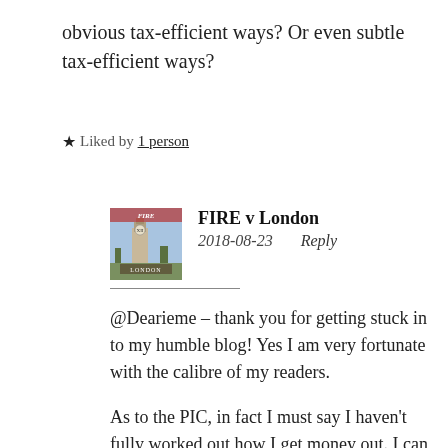obvious tax-efficient ways? Or even subtle tax-efficient ways?
★ Liked by 1 person
FIRE v London
2018-08-23    Reply
@Dearieme – thank you for getting stuck in to my humble blog! Yes I am very fortunate with the calibre of my readers.
As to the PIC, in fact I must say I haven't fully worked out how I get money out. I can